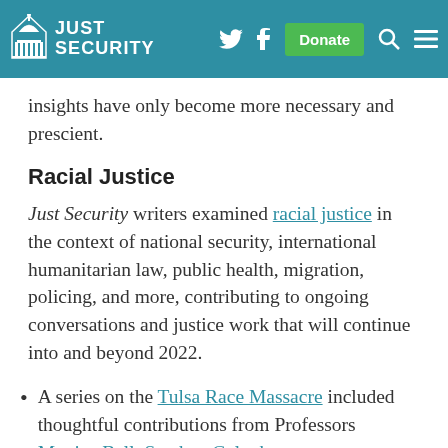JUST SECURITY — navigation bar with logo, Twitter, Facebook, Donate, Search, Menu icons
insights have only become more necessary and prescient.
Racial Justice
Just Security writers examined racial justice in the context of national security, international humanitarian law, public health, migration, policing, and more, contributing to ongoing conversations and justice work that will continue into and beyond 2022.
A series on the Tulsa Race Massacre included thoughtful contributions from Professors Monica Bell, Stephen Galoob,